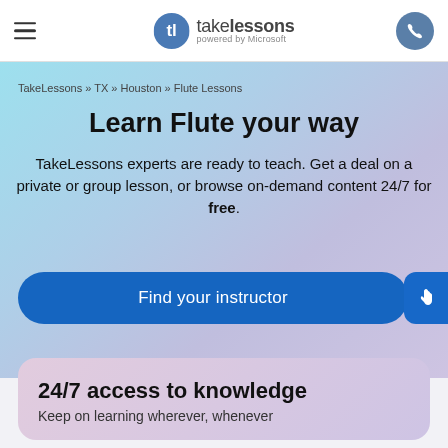takelessons powered by Microsoft
TakeLessons » TX » Houston » Flute Lessons
Learn Flute your way
TakeLessons experts are ready to teach. Get a deal on a private or group lesson, or browse on-demand content 24/7 for free.
Find your instructor
24/7 access to knowledge
Keep on learning wherever, whenever